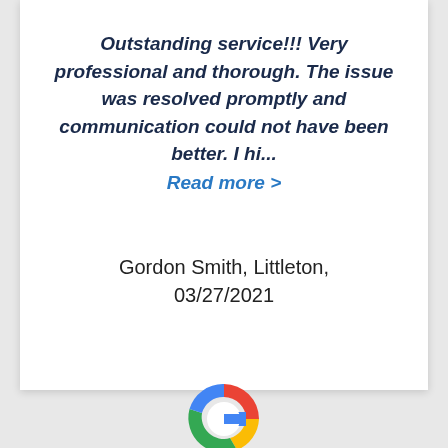Outstanding service!!! Very professional and thorough. The issue was resolved promptly and communication could not have been better. I hi...
Read more >
Gordon Smith, Littleton, 03/27/2021
[Figure (logo): Google 'G' logo in brand colors (red, yellow, green, blue)]